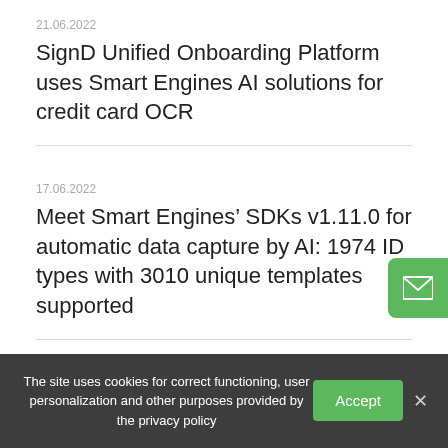21.06.2022
SignD Unified Onboarding Platform uses Smart Engines AI solutions for credit card OCR
17.06.2022
Meet Smart Engines’ SDKs v1.11.0 for automatic data capture by AI: 1974 ID types with 3010 unique templates supported
15.03.2022
Smart Engines launched two new demo app for Android and released the Smart Engines
The site uses cookies for correct functioning, user personalization and other purposes provided by the privacy policy